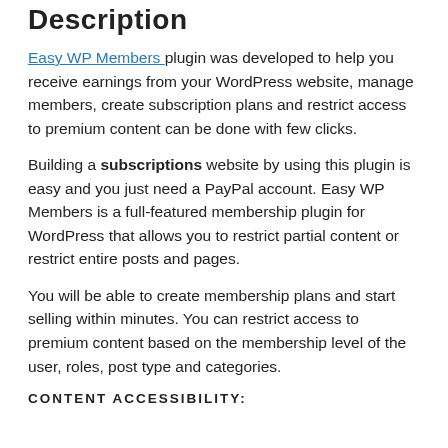Description
Easy WP Members plugin was developed to help you receive earnings from your WordPress website, manage members, create subscription plans and restrict access to premium content can be done with few clicks.
Building a subscriptions website by using this plugin is easy and you just need a PayPal account. Easy WP Members is a full-featured membership plugin for WordPress that allows you to restrict partial content or restrict entire posts and pages.
You will be able to create membership plans and start selling within minutes. You can restrict access to premium content based on the membership level of the user, roles, post type and categories.
CONTENT ACCESSIBILITY: